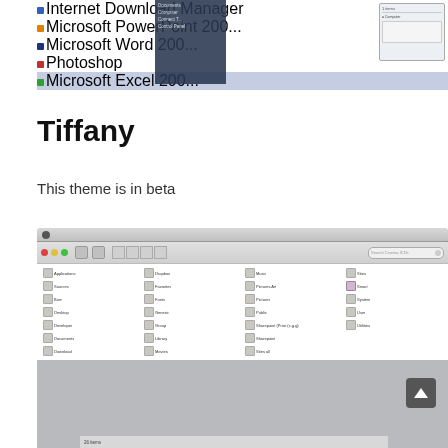[Figure (screenshot): Screenshot of a Windows desktop showing Start menu with applications listed (Internet Download Manager, Microsoft PowerPoint, Microsoft Word, Photoshop, Microsoft Excel) and a colorful abstract wallpaper with a file dialog in the corner.]
Tiffany
This theme is in beta
[Figure (screenshot): Screenshot of a Mac OS X Finder window showing folder contents in icon view with items: Applications, Dropbox, Music, Sites, Sources, Favorites, Pictures Art, Smart, Burn, Fonts, Pictures, System, Desktop, Generic, Public, User, Developer, Group, Sharepoint (Prior (c.g.), Utilities, Documents, Library, Sharepoint, Download, Movies, Sites all. Status bar shows 26 items. Displayed within a gray macOS-style desktop.]